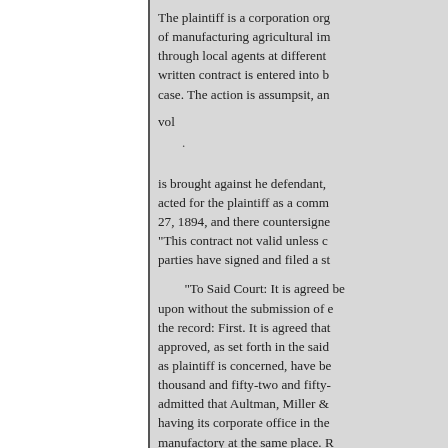The plaintiff is a corporation org of manufacturing agricultural im through local agents at different written contract is entered into b case. The action is assumpsit, an
vol
.
is brought against he defendant, acted for the plaintiff as a comm 27, 1894, and there countersigne "This contract not valid unless c parties have signed and filed a st
"To Said Court: It is agreed be upon without the submission of e the record: First. It is agreed that approved, as set forth in the said as plaintiff is concerned, have be thousand and fifty-two and fifty- admitted that Aultman, Miller & having its corporate office in the manufactory at the same place. R